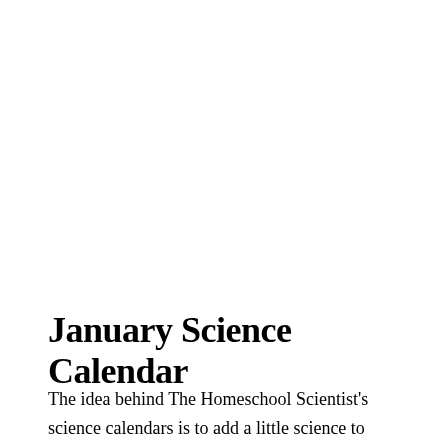January Science Calendar
The idea behind The Homeschool Scientist's science calendars is to add a little science to